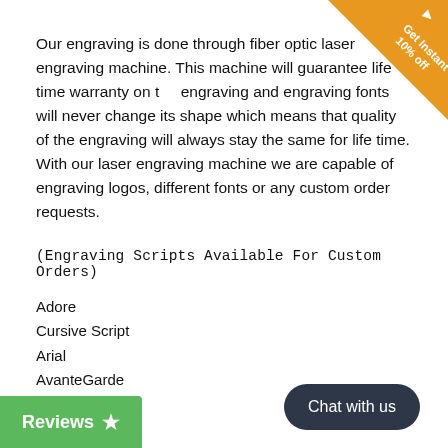Our engraving is done through fiber optic laser engraving machine. This machine will guarantee life time warranty on the engraving and engraving fonts will never change its shape which means that quality of the engraving will always stay the same for life time. With our laser engraving machine we are capable of engraving logos, different fonts or any custom order requests.
(Engraving Scripts Available For Custom Orders)
Adore
Cursive Script
Arial
AvanteGarde
CAESAR
Celtic
Christine